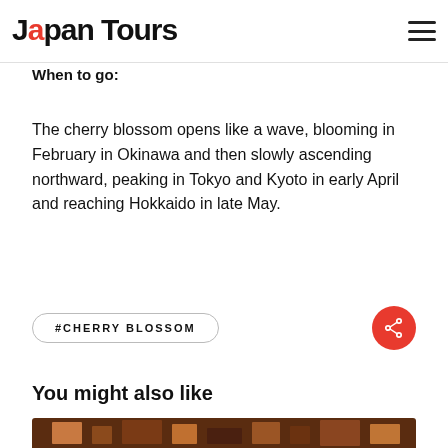Japan Tours
When to go:
The cherry blossom opens like a wave, blooming in February in Okinawa and then slowly ascending northward, peaking in Tokyo and Kyoto in early April and reaching Hokkaido in late May.
#CHERRY BLOSSOM
You might also like
[Figure (photo): Image strip showing interior of Japanese building or temple]